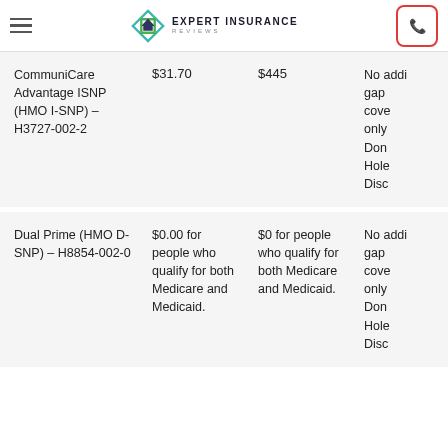Expert Insurance Reviews
| Plan | Monthly Premium | Annual Deductible | Drug Coverage |
| --- | --- | --- | --- |
| CommuniCare Advantage ISNP (HMO I-SNP) – H3727-002-2 | $31.70 | $445 | No additional gap coverage, only Donut Hole Discount |
| Dual Prime (HMO D-SNP) – H8854-002-0 | $0.00 for people who qualify for both Medicare and Medicaid. | $0 for people who qualify for both Medicare and Medicaid. | No additional gap coverage, only Donut Hole Discount |